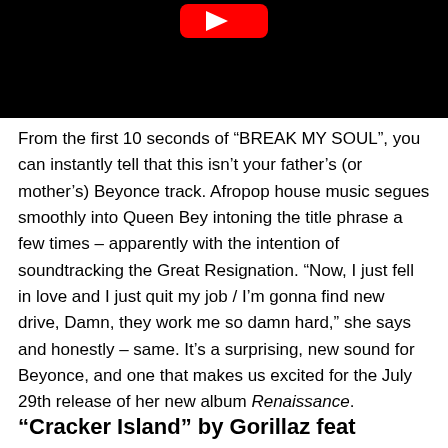[Figure (screenshot): Vevo video thumbnail with black background and white Vevo logo in bottom left]
From the first 10 seconds of “BREAK MY SOUL”, you can instantly tell that this isn’t your father’s (or mother’s) Beyonce track. Afropop house music segues smoothly into Queen Bey intoning the title phrase a few times – apparently with the intention of soundtracking the Great Resignation. “Now, I just fell in love and I just quit my job / I’m gonna find new drive, Damn, they work me so damn hard,” she says and honestly – same. It’s a surprising, new sound for Beyonce, and one that makes us excited for the July 29th release of her new album Renaissance.
“Cracker Island” by Gorillaz feat